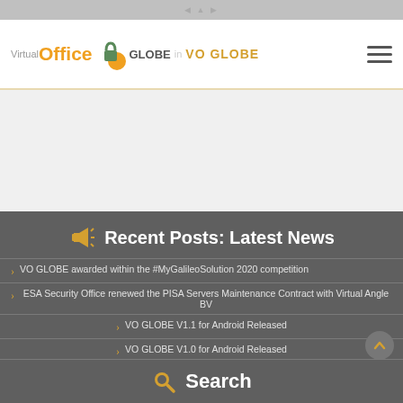Virtual Office GLOBE — VO GLOBE
VO GLOBE awarded within the #MyGalileoSolution 2020 competition
ESA Security Office renewed the PISA Servers Maintenance Contract with Virtual Angle BV
VO GLOBE V1.1 for Android Released
VO GLOBE V1.0 for Android Released
Recent Posts: Latest News
Search